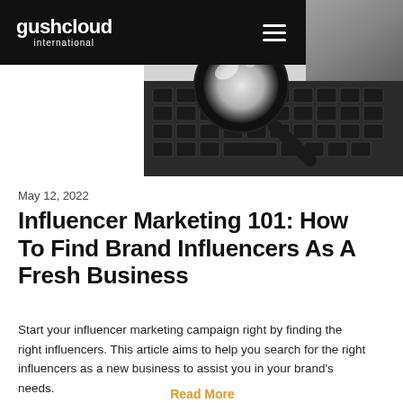gushcloud international
[Figure (photo): Magnifying glass resting on a laptop keyboard, black and white photo]
May 12, 2022
Influencer Marketing 101: How To Find Brand Influencers As A Fresh Business
Start your influencer marketing campaign right by finding the right influencers. This article aims to help you search for the right influencers as a new business to assist you in your brand's needs.
Read More